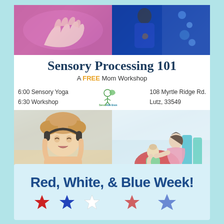[Figure (photo): Two photos side by side at top: left shows child hands in pink/magenta kinetic sand, right shows person under blue UV light]
Sensory Processing 101
A FREE Mom Workshop
6:00  Sensory Yoga
6:30  Workshop
[Figure (logo): Sense Able Brain logo with green stick figure and leaf]
108 Myrtle Ridge Rd.
Lutz, 33549
[Figure (photo): Child with curly hair wearing headphones, looking distressed, hands pressed to headphones]
[Figure (photo): Mother in pink shirt holding baby on a red exercise ball in therapy room with colorful equipment in background]
Red, White, & Blue Week!
[Figure (illustration): Row of red, blue, and white stars decoration]